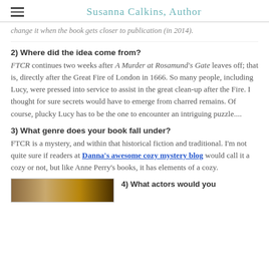Susanna Calkins, Author
change it when the book gets closer to publication (in 2014).
2) Where did the idea come from?
FTCR continues two weeks after A Murder at Rosamund's Gate leaves off; that is, directly after the Great Fire of London in 1666. So many people, including Lucy, were pressed into service to assist in the great clean-up after the Fire. I thought for sure secrets would have to emerge from charred remains. Of course, plucky Lucy has to be the one to encounter an intriguing puzzle....
3) What genre does your book fall under?
FTCR is a mystery, and within that historical fiction and traditional. I'm not quite sure if readers at Danna's awesome cozy mystery blog would call it a cozy or not, but like Anne Perry's books, it has elements of a cozy.
4) What actors would you